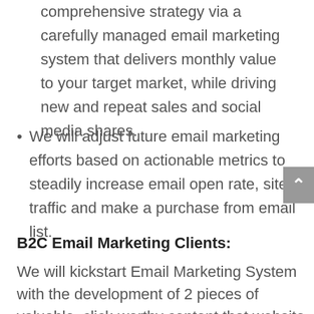comprehensive strategy via a carefully managed email marketing system that delivers monthly value to your target market, while driving new and repeat sales and social media shares.
We will adjust future email marketing efforts based on actionable metrics to steadily increase email open rate, site traffic and make a purchase from email list.
B2C Email Marketing Clients:
We will kickstart Email Marketing System with the development of 2 pieces of valuable, click-worthy content that website visitors will submit their information in exchange for.